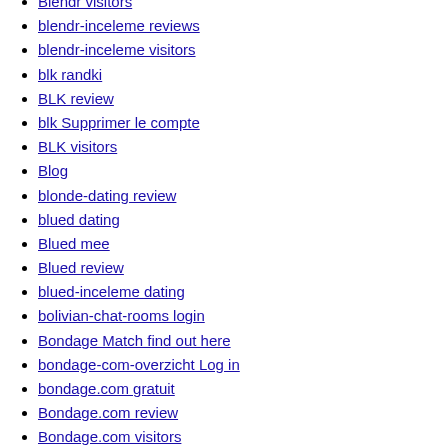Blendr visitors
blendr-inceleme reviews
blendr-inceleme visitors
blk randki
BLK review
blk Supprimer le compte
BLK visitors
Blog
blonde-dating review
blued dating
Blued mee
Blued review
blued-inceleme dating
bolivian-chat-rooms login
Bondage Match find out here
bondage-com-overzicht Log in
bondage.com gratuit
Bondage.com review
Bondage.com visitors
BongaCams Token Free
bookofmatches fr review
Bookofmatches hookup websites
bookofmatches sign in
Bookofmatches unf?hige
BookOfMatches visitors
bookofmatches-overzicht Log in